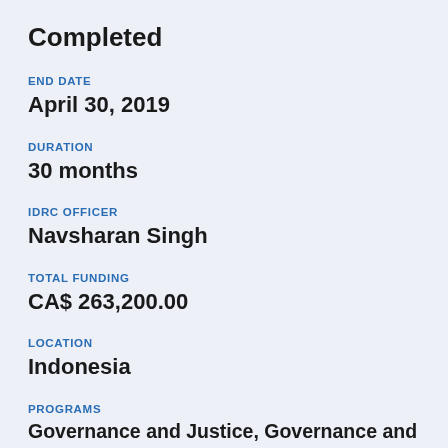Completed
END DATE
April 30, 2019
DURATION
30 months
IDRC OFFICER
Navsharan Singh
TOTAL FUNDING
CA$ 263,200.00
LOCATION
Indonesia
PROGRAMS
Governance and Justice, Governance and Justice, Think Tank Initiative